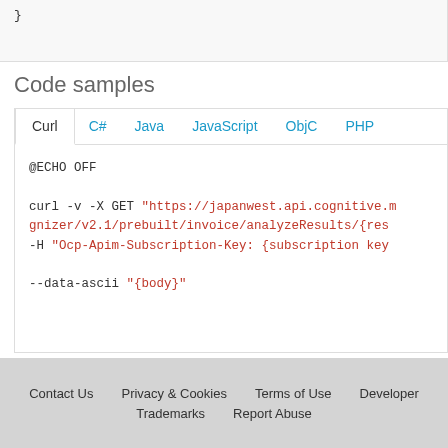}
Code samples
Curl | C# | Java | JavaScript | ObjC | PHP
@ECHO OFF
curl -v -X GET "https://japanwest.api.cognitive.m... gnizer/v2.1/prebuilt/invoice/analyzeResults/{res...
-H "Ocp-Apim-Subscription-Key: {subscription key...
--data-ascii "{body}"
Contact Us   Privacy & Cookies   Terms of Use   Developer   Trademarks   Report Abuse